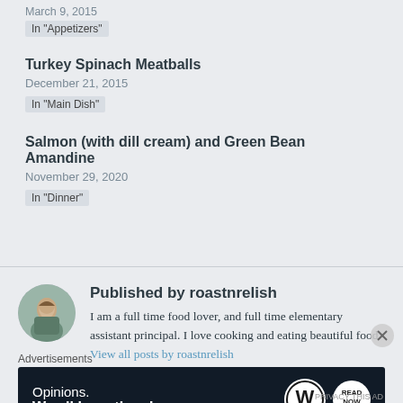March 9, 2015
In "Appetizers"
Turkey Spinach Meatballs
December 21, 2015
In "Main Dish"
Salmon (with dill cream) and Green Bean Amandine
November 29, 2020
In "Dinner"
Published by roastnrelish
I am a full time food lover, and full time elementary assistant principal. I love cooking and eating beautiful food. View all posts by roastnrelish
Advertisements
[Figure (screenshot): WordPress advertisement banner with text 'Opinions. We all have them!' and WordPress and Read Now logos on dark navy background]
PRIVACY THIS AD